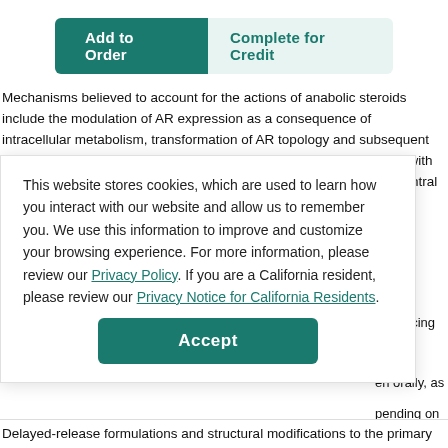[Figure (other): Two buttons: 'Add to Order' (teal/filled) and 'Complete for Credit' (light teal/outline style)]
Mechanisms believed to account for the actions of anabolic steroids include the modulation of AR expression as a consequence of intracellular metabolism, transformation of AR topology and subsequent interaction with coactivators and transcriptional activity, interference with glucocorticoid receptor expression, and alteration of non-genomic central nervous system pathways [53].
This website stores cookies, which are used to learn how you interact with our website and allow us to remember you. We use this information to improve and customize your browsing experience. For more information, please review our Privacy Policy. If you are a California resident, please review our Privacy Notice for California Residents.
[Figure (other): Accept button for cookie consent banner]
Delayed-release formulations and structural modifications to the primary